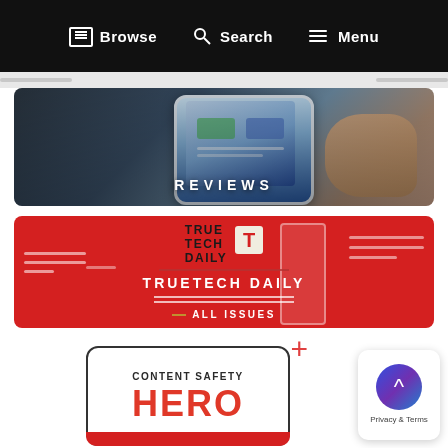Browse   Search   Menu
[Figure (screenshot): Hand holding a smartphone, shown from above. The word REVIEWS is displayed in white letters centered on the image.]
[Figure (logo): TrueTech Daily red banner with logo, decorative lines, and text: TRUE TECH DAILY / TRUETECH DAILY / ALL ISSUES]
[Figure (screenshot): Content Safety Hero card with a plus icon and red bar at bottom, partially visible. Privacy/cookie consent widget visible at bottom right.]